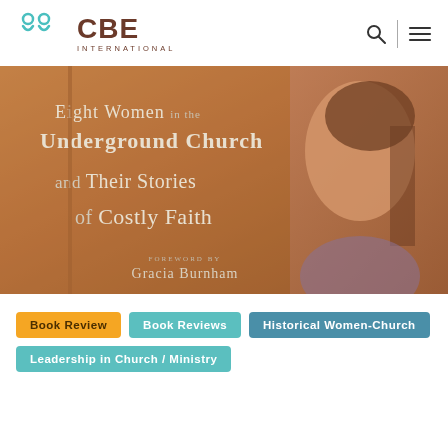CBE International
[Figure (photo): Book cover showing 'Eight Women in the Underground Church and Their Stories of Costly Faith', foreword by Gracia Burnham, featuring a woman's face and a textured orange/brown background]
Book Review
Book Reviews
Historical Women-Church
Leadership in Church / Ministry